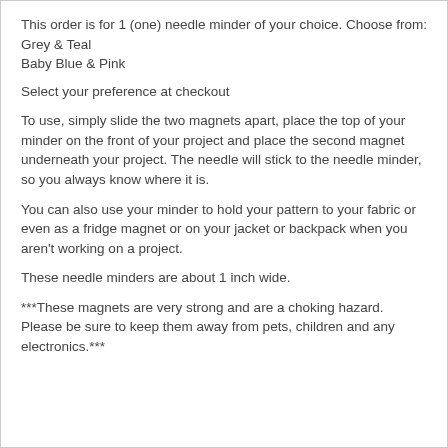This order is for 1 (one) needle minder of your choice. Choose from:
Grey & Teal
Baby Blue & Pink
Select your preference at checkout
To use, simply slide the two magnets apart, place the top of your minder on the front of your project and place the second magnet underneath your project. The needle will stick to the needle minder, so you always know where it is.
You can also use your minder to hold your pattern to your fabric or even as a fridge magnet or on your jacket or backpack when you aren't working on a project.
These needle minders are about 1 inch wide.
***These magnets are very strong and are a choking hazard. Please be sure to keep them away from pets, children and any electronics.***